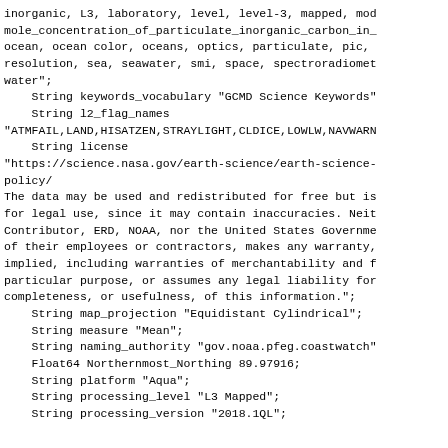inorganic, L3, laboratory, level, level-3, mapped, mod
mole_concentration_of_particulate_inorganic_carbon_in_
ocean, ocean color, oceans, optics, particulate, pic,
resolution, sea, seawater, smi, space, spectroradiomet
water";
    String keywords_vocabulary "GCMD Science Keywords"
    String l2_flag_names
"ATMFAIL,LAND,HISATZEN,STRAYLIGHT,CLDICE,LOWLW,NAVWARN
    String license
"https://science.nasa.gov/earth-science/earth-science-
policy/
The data may be used and redistributed for free but is
for legal use, since it may contain inaccuracies. Neit
Contributor, ERD, NOAA, nor the United States Governme
of their employees or contractors, makes any warranty,
implied, including warranties of merchantability and f
particular purpose, or assumes any legal liability for
completeness, or usefulness, of this information.";
    String map_projection "Equidistant Cylindrical";
    String measure "Mean";
    String naming_authority "gov.noaa.pfeg.coastwatch"
    Float64 Northernmost_Northing 89.97916;
    String platform "Aqua";
    String processing_level "L3 Mapped";
    String processing_version "2018.1QL";